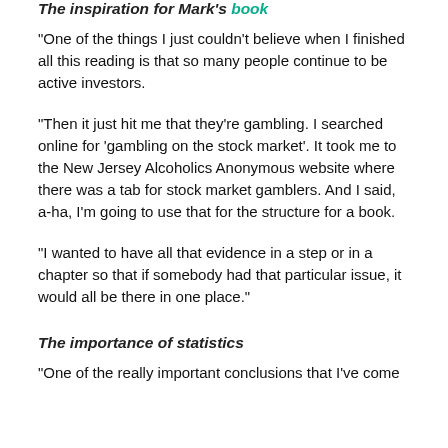The inspiration for Mark's book
“One of the things I just couldn’t believe when I finished all this reading is that so many people continue to be active investors.
“Then it just hit me that they’re gambling. I searched online for ‘gambling on the stock market’. It took me to the New Jersey Alcoholics Anonymous website where there was a tab for stock market gamblers. And I said, a-ha, I’m going to use that for the structure for a book.
“I wanted to have all that evidence in a step or in a chapter so that if somebody had that particular issue, it would all be there in one place.”
The importance of statistics
“One of the really important conclusions that I’ve come